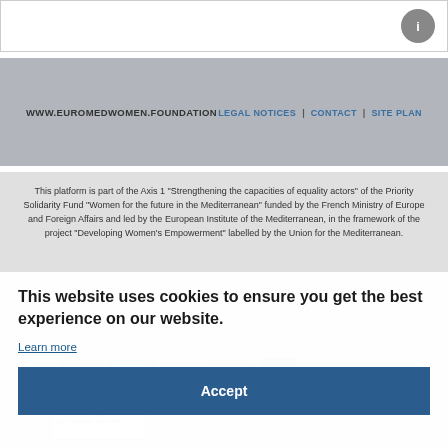WWW.EUROMEDWOMEN.FOUNDATION  LEGAL NOTICES |  CONTACT |  SITE PLAN
This platform is part of the Axis 1 "Strengthening the capacities of equality actors" of the Priority Solidarity Fund "Women for the future in the Mediterranean" funded by the French Ministry of Europe and Foreign Affairs and led by the European Institute of the Mediterranean, in the framework of the project “Developing Women’s Empowerment” labelled by the Union for the Mediterranean.
This website uses cookies to ensure you get the best experience on our website.
Learn more
Accept
[Figure (logo): rusemeg logo with tagline]
[Figure (logo): Partner organization logos including CAWTAR and others]